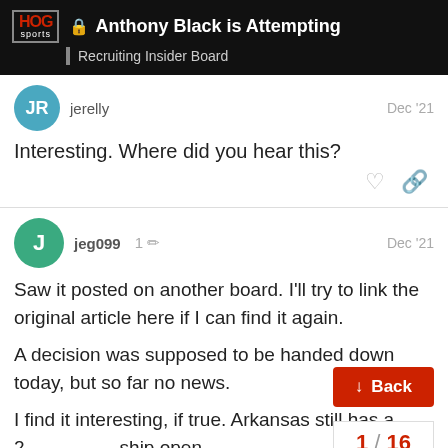Anthony Black is Attempting — Recruiting Insider Board
Interesting. Where did you hear this?
jeg099  1  Dec '21

Saw it posted on another board. I'll try to link the original article here if I can find it again.

A decision was supposed to be handed down today, but so far no news.

I find it interesting, if true. Arkansas still has a 2[...] ship open.

More than coincidence, perhaps? Don't wa[...]
1 / 16